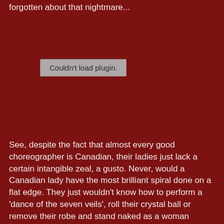forgotten about that nightmare...
[Figure (other): A placeholder box with text 'Couldn't load plugin.']
See, despite the fact that almost every good choreographer is Canadian, their ladies just lack a certain intangible zeal, a gusto. Never, would a Canadian lady have the most brilliant spiral done on a flat edge. They just wouldn't know how to perform a 'dance of the seven veils', roll their crystal ball or remove their robe and stand naked as a woman before the world. One of their choreographers could create it, but it would have to be given to someone else.